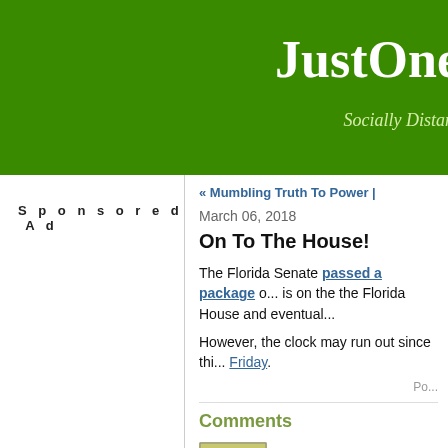JustOne — Socially Distan...
Sponsored Ad
« Mumbling Truth To Power |
March 06, 2018
On To The House!
The Florida Senate passed a package of... is on the the Florida House and eventual...
However, the clock may run out since thi... Friday.
Pos...
Comments
[Figure (illustration): Green and yellow flower/star decorative avatar image]
It's useless anyway.